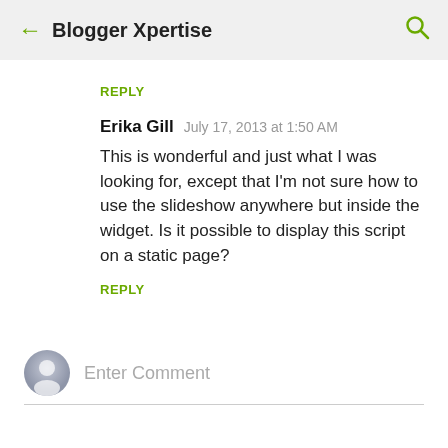Blogger Xpertise
REPLY
Erika Gill  July 17, 2013 at 1:50 AM
This is wonderful and just what I was looking for, except that I'm not sure how to use the slideshow anywhere but inside the widget. Is it possible to display this script on a static page?
REPLY
Enter Comment